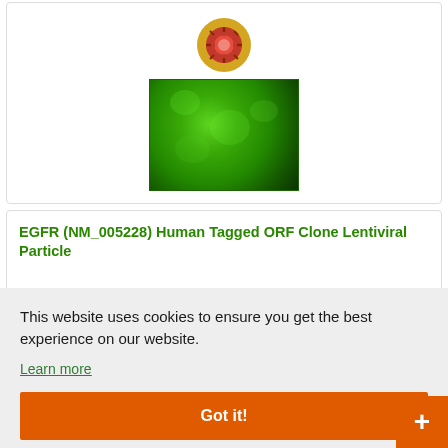[Figure (photo): Virus icon (orange/red coronavirus illustration on gold/yellow circular background) above a green fluorescence microscopy image]
EGFR (NM_005228) Human Tagged ORF Clone Lentiviral Particle
This website uses cookies to ensure you get the best experience on our website.
Learn more
Got it!
Live Chat Online